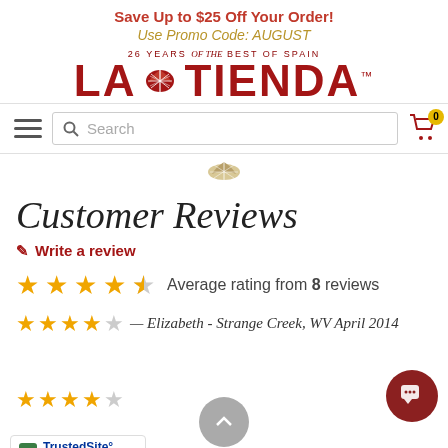Save Up to $25 Off Your Order!
Use Promo Code: AUGUST
[Figure (logo): La Tienda logo with shell icon and tagline '26 YEARS of the BEST OF SPAIN']
Search
Average rating from 8 reviews
Customer Reviews
✎ Write a review
— Elizabeth - Strange Creek, WV April 2014
...offee. I just can't seem to duplicate what I